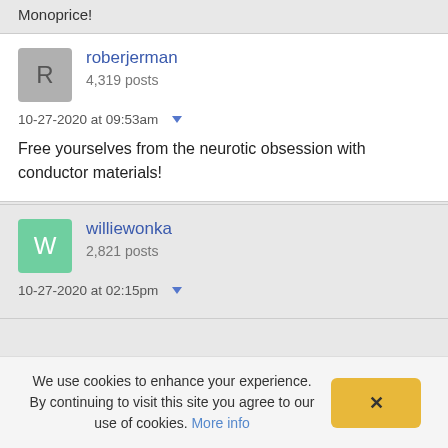Monoprice!
roberjerman
4,319 posts
10-27-2020 at 09:53am
Free yourselves from the neurotic obsession with conductor materials!
williewonka
2,821 posts
10-27-2020 at 02:15pm
We use cookies to enhance your experience. By continuing to visit this site you agree to our use of cookies. More info